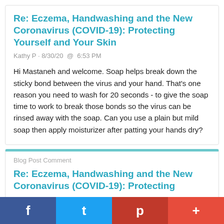Re: Eczema, Handwashing and the New Coronavirus (COVID-19): Protecting Yourself and Your Skin
Kathy P · 8/30/20 @ 6:53 PM
Hi Mastaneh and welcome. Soap helps break down the sticky bond between the virus and your hand. That's one reason you need to wash for 20 seconds - to give the soap time to work to break those bonds so the virus can be rinsed away with the soap. Can you use a plain but mild soap then apply moisturizer after patting your hands dry?
Blog Post Comment
Re: Eczema, Handwashing and the New Coronavirus (COVID-19): Protecting